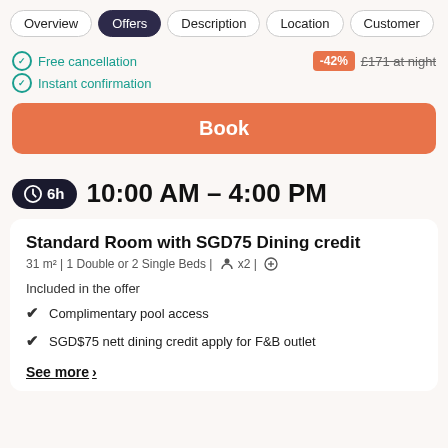Overview | Offers | Description | Location | Customer
Free cancellation
Instant confirmation
-42% £171 at night
Book
6h  10:00 AM - 4:00 PM
Standard Room with SGD75 Dining credit
31 m² | 1 Double or 2 Single Beds | x2 |
Included in the offer
Complimentary pool access
SGD$75 nett dining credit apply for F&B outlet
See more >